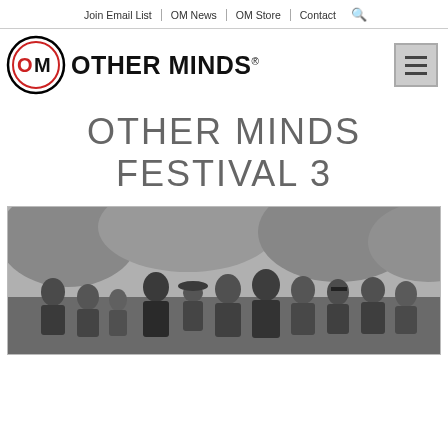Join Email List | OM News | OM Store | Contact 🔍
[Figure (logo): Other Minds logo with circular OM emblem and OTHER MINDS® wordmark]
OTHER MINDS FESTIVAL 3
[Figure (photo): Black and white group photo of musicians and festival participants standing outdoors under trees]